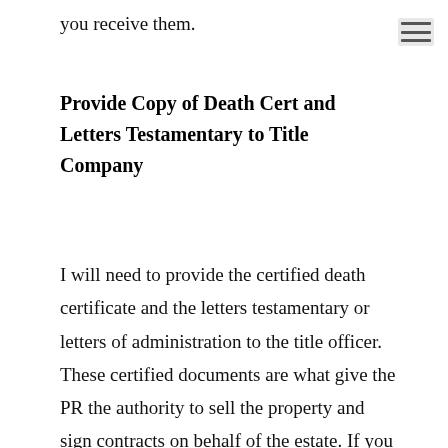you receive them.
Provide Copy of Death Cert and Letters Testamentary to Title Company
I will need to provide the certified death certificate and the letters testamentary or letters of administration to the title officer. These certified documents are what give the PR the authority to sell the property and sign contracts on behalf of the estate. If you do not have